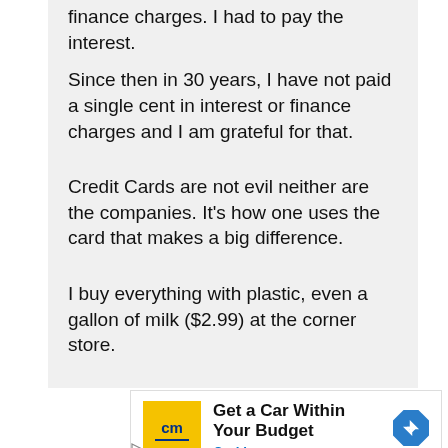finance charges. I had to pay the interest.

Since then in 30 years, I have not paid a single cent in interest or finance charges and I am grateful for that.

Credit Cards are not evil neither are the companies. It's how one uses the card that makes a big difference.

I buy everything with plastic, even a gallon of milk ($2.99) at the corner store.
[Figure (other): CarMax advertisement banner with yellow CM logo, text 'Get a Car Within Your Budget' and 'CarMax', and a blue diamond arrow icon.]